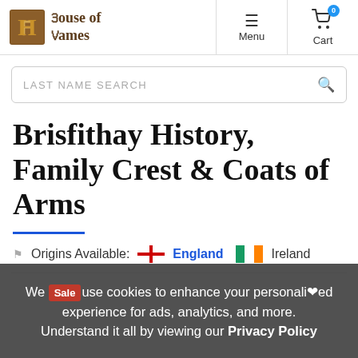[Figure (logo): House of Names logo with gothic letter H in brown/gold box and gothic text 'House of Names']
Menu   Cart 0
LAST NAME SEARCH
Brisfithay History, Family Crest & Coats of Arms
Origins Available: England  Ireland
We use cookies to enhance your personalized experience for ads, analytics, and more. Understand it all by viewing our Privacy Policy